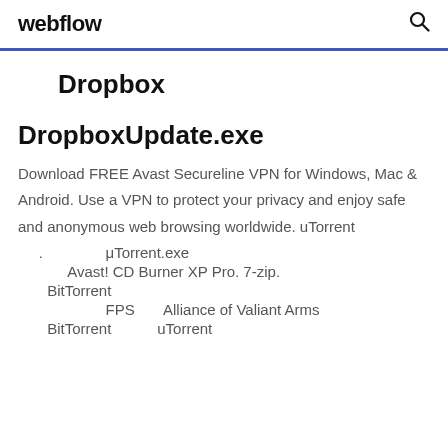webflow
Dropbox
DropboxUpdate.exe
Download FREE Avast Secureline VPN for Windows, Mac & Android. Use a VPN to protect your privacy and enjoy safe and anonymous web browsing worldwide. uTorrent
.                μTorrent.exe
Avast! CD Burner XP Pro. 7-zip.
BitTorrent
FPS       Alliance of Valiant Arms
BitTorrent           uTorrent